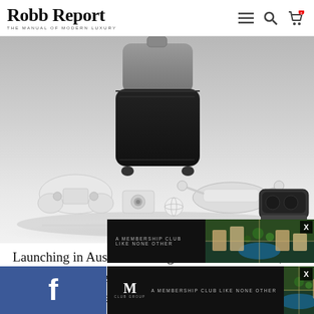Robb Report — THE MANUAL OF MODERN LUXURY
[Figure (photo): Product photo showing a collection of tech gadgets including a black and grey rolling suitcase, drone controller, VR headset, action camera, and other travel/tech accessories arranged on a white surface]
Launching in Australia in August at around $2000, this briefcase-sized submarine is attached via a 50-metre tether to the controller and can dive to depths of 30 metres. A built-in 4K UHD camera with
[Figure (photo): Advertisement overlay: dark banner ad reading 'A MEMBERSHIP CLUB LIKE NONE OTHER' with aerial photo of luxury resort/villas]
[Figure (photo): Second advertisement overlay: dark banner with M logo and 'A MEMBERSHIP CLUB LIKE NONE OTHER' text with luxury resort aerial photo]
[Figure (photo): Facebook social share button bar in blue]